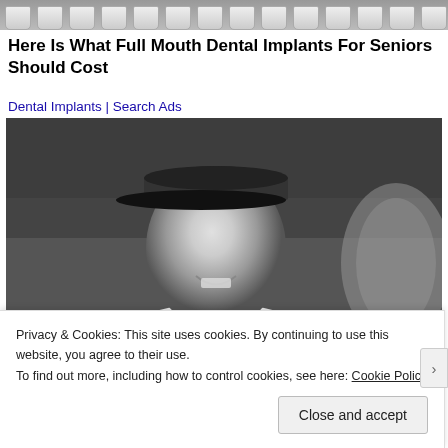[Figure (photo): Banner image showing dental implants/cups along the top]
Here Is What Full Mouth Dental Implants For Seniors Should Cost
Dental Implants | Search Ads
[Figure (photo): Black and white photograph of a smiling man wearing a basketball jersey and cap]
Privacy & Cookies: This site uses cookies. By continuing to use this website, you agree to their use.
To find out more, including how to control cookies, see here: Cookie Policy
Close and accept